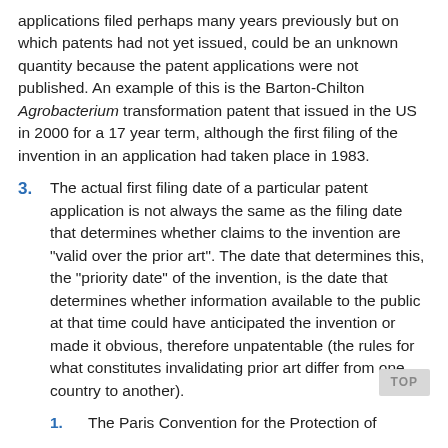applications filed perhaps many years previously but on which patents had not yet issued, could be an unknown quantity because the patent applications were not published. An example of this is the Barton-Chilton Agrobacterium transformation patent that issued in the US in 2000 for a 17 year term, although the first filing of the invention in an application had taken place in 1983.
3. The actual first filing date of a particular patent application is not always the same as the filing date that determines whether claims to the invention are "valid over the prior art". The date that determines this, the "priority date" of the invention, is the date that determines whether information available to the public at that time could have anticipated the invention or made it obvious, therefore unpatentable (the rules for what constitutes invalidating prior art differ from one country to another).
1. The Paris Convention for the Protection of